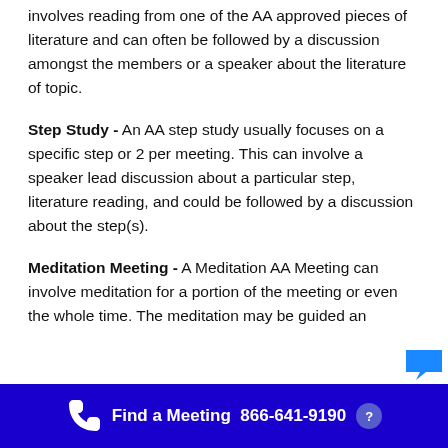involves reading from one of the AA approved pieces of literature and can often be followed by a discussion amongst the members or a speaker about the literature of topic.
Step Study - An AA step study usually focuses on a specific step or 2 per meeting. This can involve a speaker lead discussion about a particular step, literature reading, and could be followed by a discussion about the step(s).
Meditation Meeting - A Meditation AA Meeting can involve meditation for a portion of the meeting or even the whole time. The meditation may be guided an...
Find a Meeting  866-641-9190